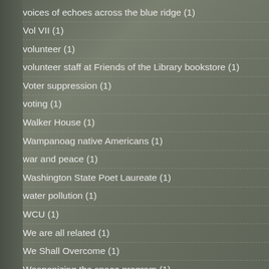voices of echoes across the blue ridge (1)
Vol VII (1)
volunteer (1)
volunteer staff at Friends of the Library bookstore (1)
Voter suppression (1)
voting (1)
Walker House (1)
Wampanoag native Americans (1)
war and peace (1)
Washington State Poet Laureate (1)
water pollution (1)
WCU (1)
We are all related (1)
We Shall Overcome (1)
Weaponizing the space program (1)
website (1)
WedMD (1)
Western Carolina University (1)
Western North Carolina (1)